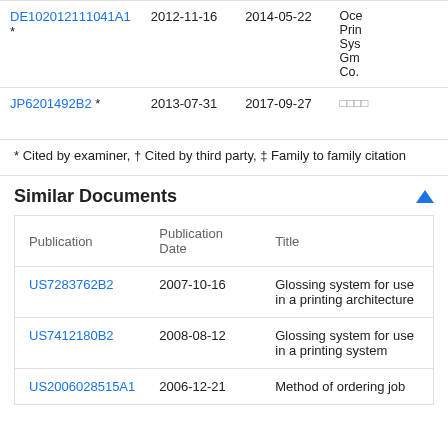| Publication | Priority Date | Publication Date | Assignee |
| --- | --- | --- | --- |
| DE102012111041A1 * | 2012-11-16 | 2014-05-22 | Oce Printing Systems GmbH & Co. |
| JP6201492B2 * | 2013-07-31 | 2017-09-27 | （日本語） |
* Cited by examiner, † Cited by third party, ‡ Family to family citation
Similar Documents
| Publication | Publication Date | Title |
| --- | --- | --- |
| US7283762B2 | 2007-10-16 | Glossing system for use in a printing architecture |
| US7412180B2 | 2008-08-12 | Glossing system for use in a printing system |
| US2006028515A1 | 2006-12-21 | Method of ordering job |